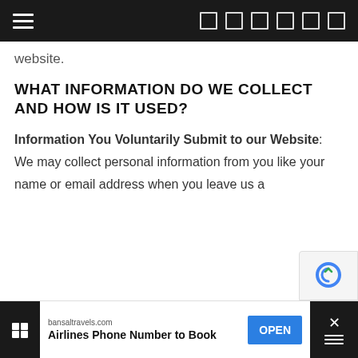Navigation bar with hamburger menu and social/search icons
website.
WHAT INFORMATION DO WE COLLECT AND HOW IS IT USED?
Information You Voluntarily Submit to our Website: We may collect personal information from you like your name or email address when you leave us a
bansaltravels.com Airlines Phone Number to Book OPEN